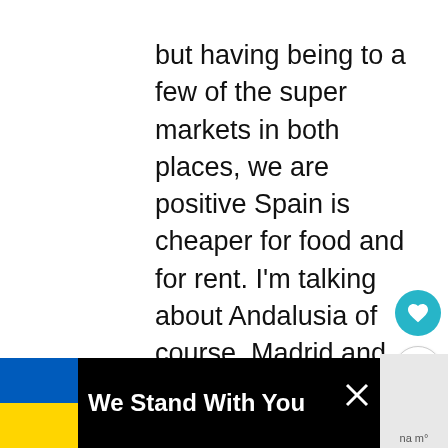but having being to a few of the super markets in both places, we are positive Spain is cheaper for food and for rent. I'm talking about Andalusia of course. Madrid and Barcelona are way more rent wise, but I think the food prices are about the same or slightly less than Portugal. If you don't need to work, or work online, I think Andalusia (Seville, Malaga etc) is cheaper. Surprised me a bit. That being said, we loved
[Figure (other): Teal circular button with heart icon and white share button below it]
[Figure (infographic): Black banner at bottom with Ukrainian flag (blue and yellow), text 'We Stand With You', close X button, and partially visible logo on right]